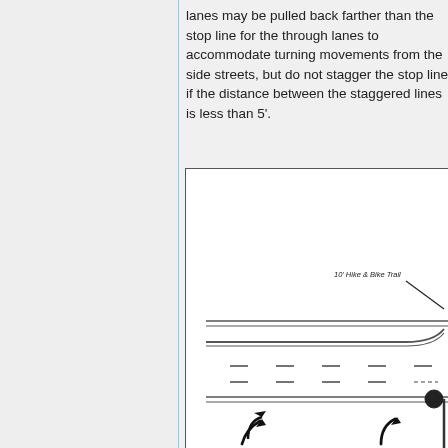lanes may be pulled back farther than the stop line for the through lanes to accommodate turning movements from the side streets, but do not stagger the stop line if the distance between the staggered lines is less than 5'.
[Figure (engineering-diagram): Engineering diagram showing road cross-section with hike & bike trail label, lane markings with dashed lines, solid lines, turn arrows, and a curb/barrier at right. Label reads '10' Hike & Bike Trail' with a leader line pointing to the top trail area.]